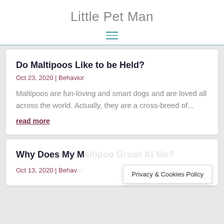Little Pet Man
Do Maltipoos Like to be Held?
Oct 23, 2020 | Behavior
Maltipoos are fun-loving and smart dogs and are loved all across the world. Actually, they are a cross-breed of...
read more
Why Does My M...
Oct 13, 2020 | Behav...
Privacy & Cookies Policy